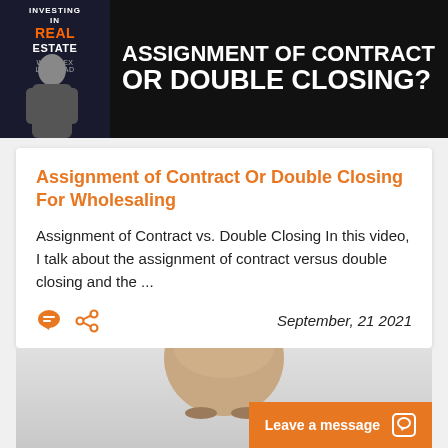[Figure (photo): Black banner image with 'Investing in Real Estate with Lex Levinrad' branding on the left and bold white text reading 'ASSIGNMENT OF CONTRACT OR DOUBLE CLOSING?' on the right]
Assignment of Contract Or Double Closing For Wholesaling
Assignment of Contract vs. Double Closing In this video, I talk about the assignment of contract versus double closing and the ...
September, 21 2021
[Figure (photo): Partial photo of a bald man's head visible at bottom, with an orange 'Leave a message' chat button overlay in the bottom right]